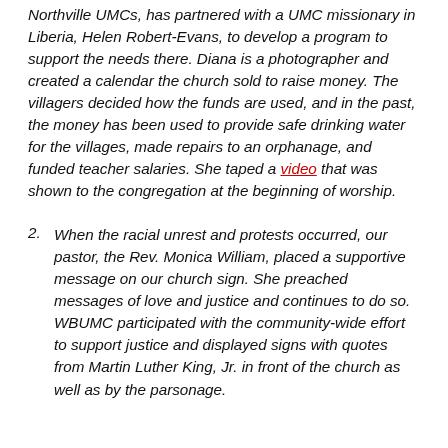Northville UMCs, has partnered with a UMC missionary in Liberia, Helen Robert-Evans, to develop a program to support the needs there. Diana is a photographer and created a calendar the church sold to raise money. The villagers decided how the funds are used, and in the past, the money has been used to provide safe drinking water for the villages, made repairs to an orphanage, and funded teacher salaries. She taped a video that was shown to the congregation at the beginning of worship.
2. When the racial unrest and protests occurred, our pastor, the Rev. Monica William, placed a supportive message on our church sign. She preached messages of love and justice and continues to do so. WBUMC participated with the community-wide effort to support justice and displayed signs with quotes from Martin Luther King, Jr. in front of the church as well as by the parsonage.